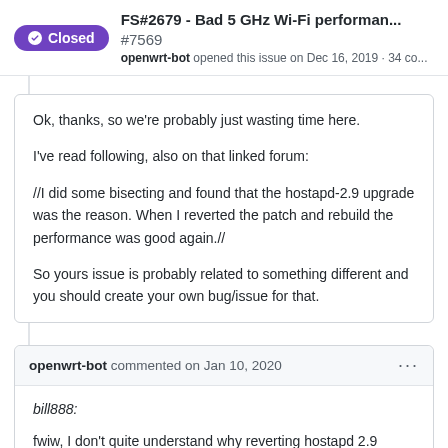FS#2679 - Bad 5 GHz Wi-Fi performan... #7569 openwrt-bot opened this issue on Dec 16, 2019 · 34 co...
Ok, thanks, so we're probably just wasting time here.

I've read following, also on that linked forum:

//I did some bisecting and found that the hostapd-2.9 upgrade was the reason. When I reverted the patch and rebuild the performance was good again.//

So yours issue is probably related to something different and you should create your own bug/issue for that.
openwrt-bot commented on Jan 10, 2020
bill888:

fwiw, I don't quite understand why reverting hostapd 2.9 solves problem for the OP, and yet OP also reported 19.07.0-